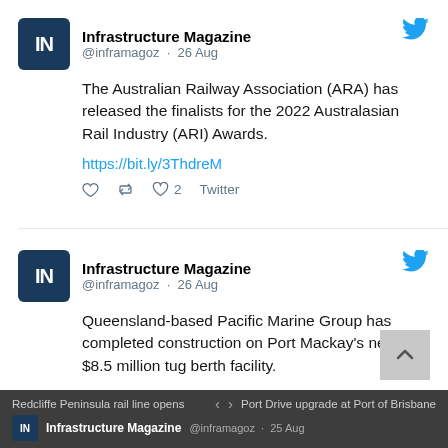Infrastructure Magazine @inframagoz · 26 Aug
The Australian Railway Association (ARA) has released the finalists for the 2022 Australasian Rail Industry (ARI) Awards.
https://bit.ly/3ThdreM
♡ 2  Twitter
Infrastructure Magazine @inframagoz · 26 Aug
Queensland-based Pacific Marine Group has completed construction on Port Mackay's new $8.5 million tug berth facility.
https://bit.ly/3QTjyo4
♡ 1  Twitter
Redcliffe Peninsula rail line opens  <  >  Port Drive upgrade at Port of Brisbane
Infrastructure Magazine @inframagoz · 25 Aug